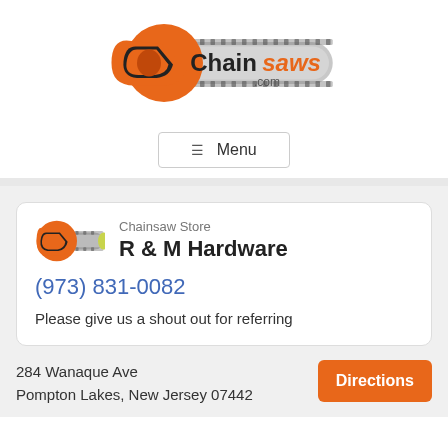[Figure (logo): Chainsaws.com logo with orange chainsaw graphic and text 'Chainsaws .com']
☰ Menu
Chainsaw Store
R & M Hardware
(973) 831-0082
Please give us a shout out for referring
284 Wanaque Ave
Pompton Lakes, New Jersey 07442
Directions